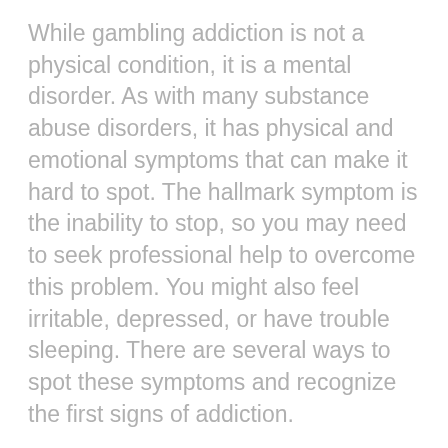While gambling addiction is not a physical condition, it is a mental disorder. As with many substance abuse disorders, it has physical and emotional symptoms that can make it hard to spot. The hallmark symptom is the inability to stop, so you may need to seek professional help to overcome this problem. You might also feel irritable, depressed, or have trouble sleeping. There are several ways to spot these symptoms and recognize the first signs of addiction.
Gambling addiction is often triggered by life events or underlying stress. Moreover, individuals with an addictive personality tend to engage in excessive gambling. It affects relationships and family members, so it is vital to recognize the early signs of gambling addiction and seek treatment. For those who are worried about a loved one who is suffering from gambling addiction, there are many resources available for support. Some organizations also provide information on the signs and symptoms of gambling addiction, as well as information about treatment